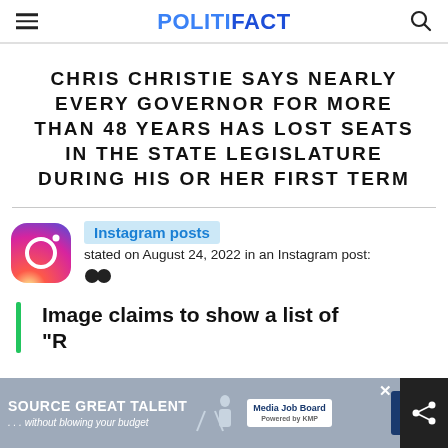POLITIFACT
CHRIS CHRISTIE SAYS NEARLY EVERY GOVERNOR FOR MORE THAN 48 YEARS HAS LOST SEATS IN THE STATE LEGISLATURE DURING HIS OR HER FIRST TERM
Instagram posts
stated on August 24, 2022 in an Instagram post:
Image claims to show a list of "R...